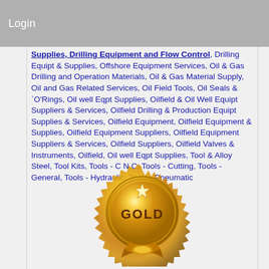Login
Supplies, Drilling Equipment and Flow Control, Drilling Equipt & Supplies, Offshore Equipment Services, Oil & Gas Drilling and Operation Materials, Oil & Gas Material Supply, Oil and Gas Related Services, Oil Field Tools, Oil Seals & `O'Rings, Oil well Eqpt Supplies, Oilfield & Oil Well Equipt Suppliers & Services, Oilfield Drilling & Production Equipt Supplies & Services, Oilfield Equipment, Oilfield Equipment & Supplies, Oilfield Equipment Suppliers, Oilfield Equipment Suppliers & Services, Oilfield Suppliers, Oilfield Valves & Instruments, Oilfield, Oil well Eqpt Supplies, Tool & Alloy Steel, Tool Kits, Tools - C N C, Tools - Cutting, Tools - General, Tools - Hydraulic, Tools - Pneumatic
[Figure (illustration): Gold medal/badge with the word GOLD written on it, decorated with a star and ribbon details at the bottom.]